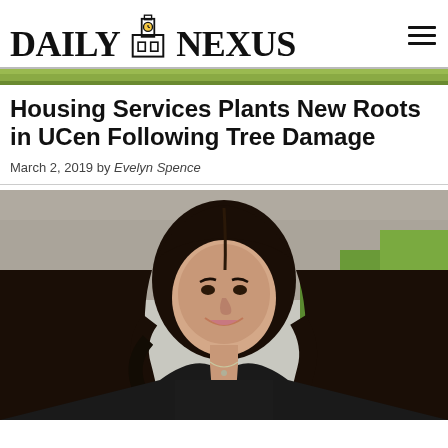DAILY NEXUS
[Figure (photo): Green grass/landscape banner strip at top of article]
Housing Services Plants New Roots in UCen Following Tree Damage
March 2, 2019 by Evelyn Spence
[Figure (photo): Portrait photo of a young woman with long dark curly hair, smiling, wearing a black top, outdoors with green foliage background]